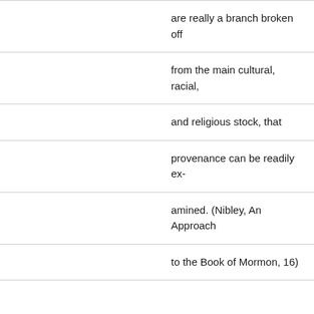|  | are really a branch broken off |
|  | from the main cultural, racial, |
|  | and religious stock, that |
|  | provenance can be readily ex- |
|  | amined. (Nibley, An Approach |
|  | to the Book of Mormon, 16) |